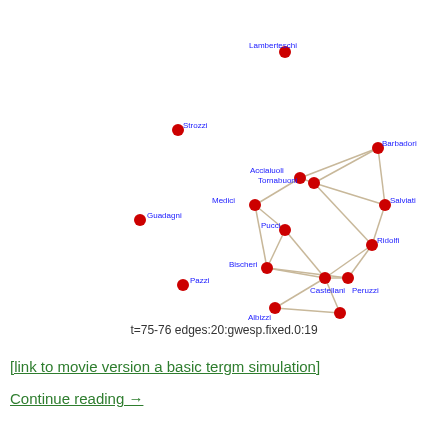[Figure (network-graph): A network graph showing Florentine family relationships. Nodes (red circles) labeled: Lamberteschi (isolated, top center), Strozzi (isolated, left-center), Guadagni (isolated, left), Pazzi (isolated, lower-left), Barbadori (top-right), Acciaiuoli, Tornabuoni, Medici, Salviati, Pucci, Ridolfi, Bischeri, Castellani, Peruzzi, Albizzi, Ginori. Connected nodes form a cluster on the right side with edges between them.]
t=75-76 edges:20:gwesp.fixed.0:19
[link to movie version a basic tergm simulation]
Continue reading →